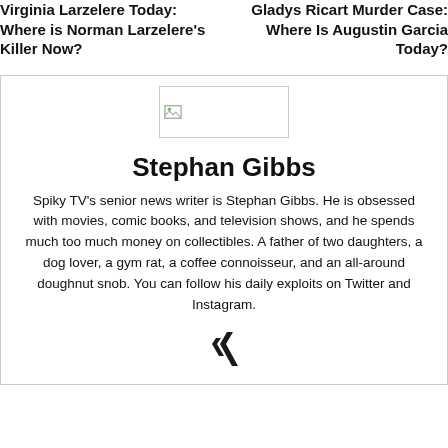Virginia Larzelere Today: Where is Norman Larzelere's Killer Now?
Gladys Ricart Murder Case: Where Is Augustin Garcia Today?
[Figure (photo): Broken image placeholder for Stephan Gibbs author photo]
Stephan Gibbs
Spiky TV's senior news writer is Stephan Gibbs. He is obsessed with movies, comic books, and television shows, and he spends much too much money on collectibles. A father of two daughters, a dog lover, a gym rat, a coffee connoisseur, and an all-around doughnut snob. You can follow his daily exploits on Twitter and Instagram.
[Figure (logo): Xing social media icon]